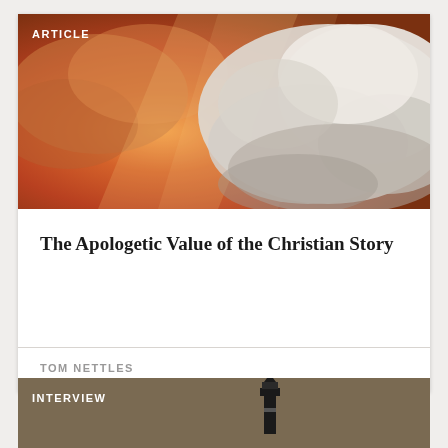ARTICLE
[Figure (photo): Dramatic sky scene with warm orange-red light on the left and billowing white clouds on the right, used as header image for article card.]
The Apologetic Value of the Christian Story
TOM NETTLES
INTERVIEW
[Figure (photo): Partial view of an interview card with a warm brown/tan background and a small lighthouse or figure silhouette visible at the bottom center.]